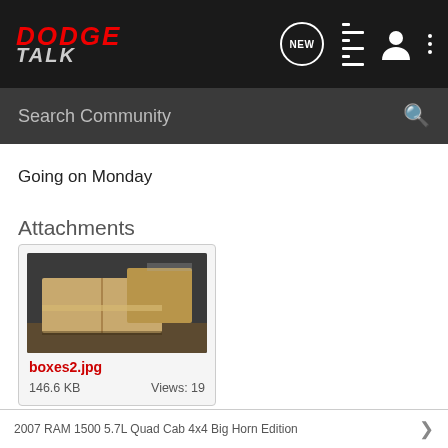DODGE TALK
Search Community
Going on Monday
Attachments
[Figure (photo): A photo of cardboard boxes stacked on a floor, filename boxes2.jpg, 146.6 KB, Views: 19]
boxes2.jpg
146.6 KB    Views: 19
2007 RAM 1500 5.7L Quad Cab 4x4 Big Horn Edition